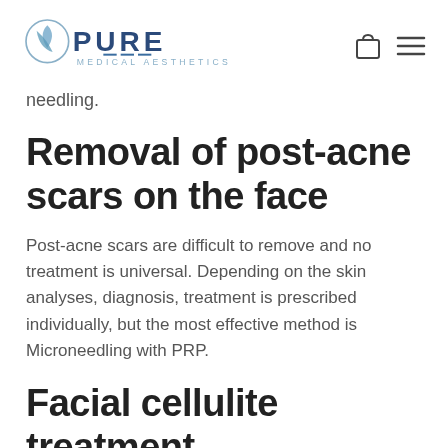PURE MEDICAL AESTHETICS
needling.
Removal of post-acne scars on the face
Post-acne scars are difficult to remove and no treatment is universal. Depending on the skin analyses, diagnosis, treatment is prescribed individually, but the most effective method is Microneedling with PRP.
Facial cellulite treatment